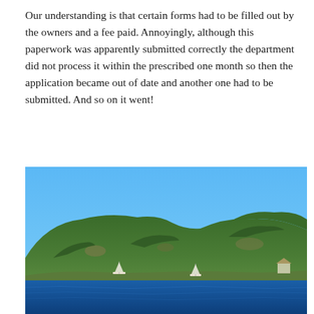Our understanding is that certain forms had to be filled out by the owners and a fee paid. Annoyingly, although this paperwork was apparently submitted correctly the department did not process it within the prescribed one month so then the application became out of date and another one had to be submitted. And so on it went!
[Figure (photo): Photograph of a rocky, tree-covered hillside coastline under a clear blue sky, with deep blue sea in the foreground and sailboats visible near the shore.]